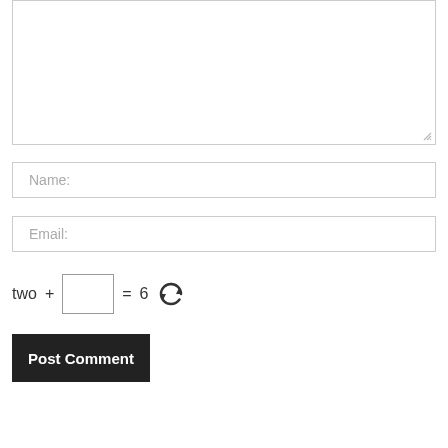[Figure (screenshot): Comment form textarea (large empty text input box with resize handle in bottom-right corner)]
Name:
Email:
two + [input box] = 6 [refresh icon]
Post Comment